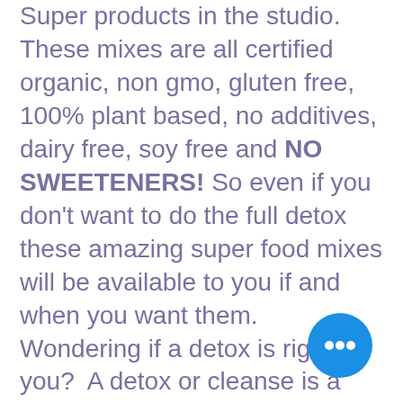Super products in the studio. These mixes are all certified organic, non gmo, gluten free, 100% plant based, no additives, dairy free, soy free and NO SWEETENERS! So even if you don't want to do the full detox these amazing super food mixes will be available to you if and when you want them.   Wondering if a detox is right for you?  A detox or cleanse is a healthy way to reset the body's systems.   When you follow a detox diet, your improving and optimizing the function of your body's own detoxification systems and supporting your body's health.  You're also trying to give your body a break so it can heal itself.  If its constantly being occupied with digestions, which takes a lot of energy, your body will put the deep
[Figure (other): Blue circular chat/more options button with three white dots]